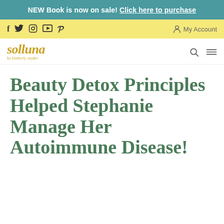NEW Book is now on sale! Click here to purchase
f  twitter  instagram  youtube  pinterest  My Account
solluna by kimberly snyder
Beauty Detox Principles Helped Stephanie Manage Her Autoimmune Disease!